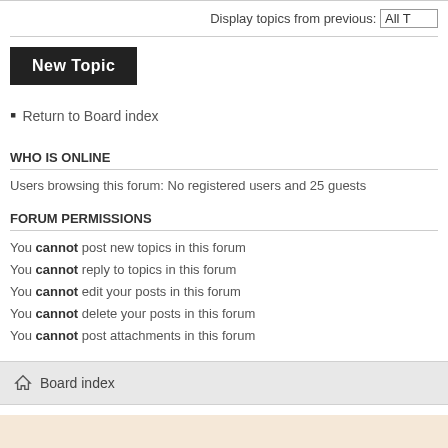Display topics from previous: All T
New Topic
• Return to Board index
WHO IS ONLINE
Users browsing this forum: No registered users and 25 guests
FORUM PERMISSIONS
You cannot post new topics in this forum
You cannot reply to topics in this forum
You cannot edit your posts in this forum
You cannot delete your posts in this forum
You cannot post attachments in this forum
Board index